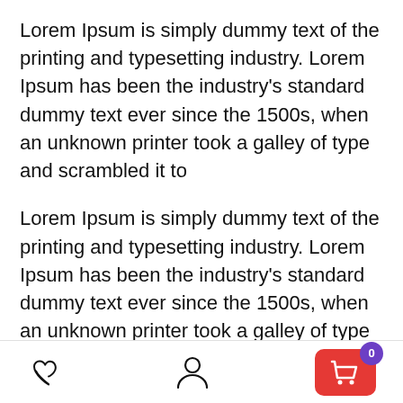Lorem Ipsum is simply dummy text of the printing and typesetting industry. Lorem Ipsum has been the industry's standard dummy text ever since the 1500s, when an unknown printer took a galley of type and scrambled it to
Lorem Ipsum is simply dummy text of the printing and typesetting industry. Lorem Ipsum has been the industry's standard dummy text ever since the 1500s, when an unknown printer took a galley of type and scrambled it to
The software side of the Dolores Wi-Fi also wipes the floor with that of most other manufacturers. As well as transferring images and controlling the shutter